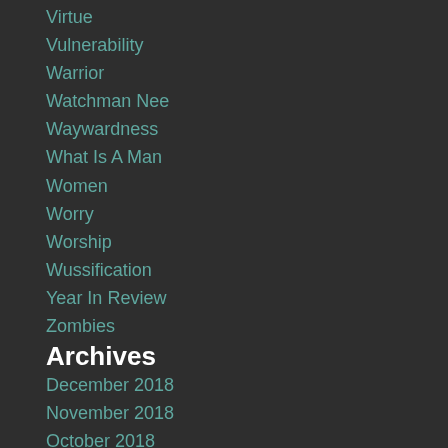Virtue
Vulnerability
Warrior
Watchman Nee
Waywardness
What Is A Man
Women
Worry
Worship
Wussification
Year In Review
Zombies
Archives
December 2018
November 2018
October 2018
September 2018
August 2018
July 2018
June 2018